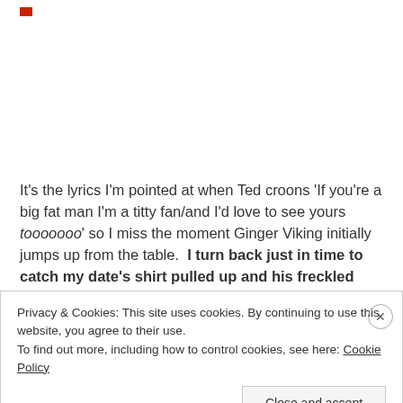[Figure (logo): Small red logo box in top left corner]
It's the lyrics I'm pointed at when Ted croons 'If you're a big fat man I'm a titty fan/and I'd love to see yours tooooooo' so I miss the moment Ginger Viking initially jumps up from the table.  I turn back just in time to catch my date's shirt pulled up and his freckled nipples laid
Privacy & Cookies: This site uses cookies. By continuing to use this website, you agree to their use.
To find out more, including how to control cookies, see here: Cookie Policy
Close and accept